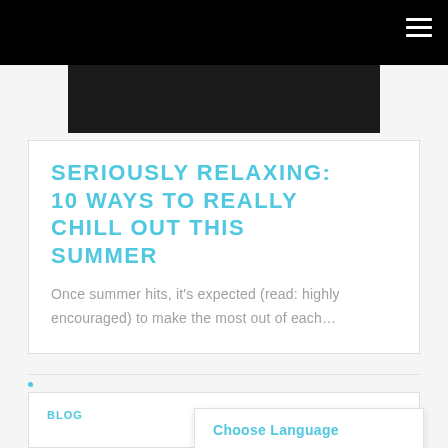[Figure (photo): Dark hero image partially visible at top of article card]
SERIOUSLY RELAXING: 10 WAYS TO REALLY CHILL OUT THIS SUMMER
Once summer hits, it's expected (read: highly encouraged) to make the most out of each…
BLOG
July 2, 2019
Choose Language